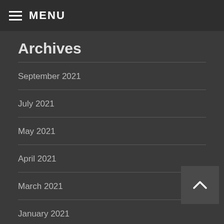MENU
Archives
September 2021
July 2021
May 2021
April 2021
March 2021
January 2021
July 2020
June 2020
May 2020